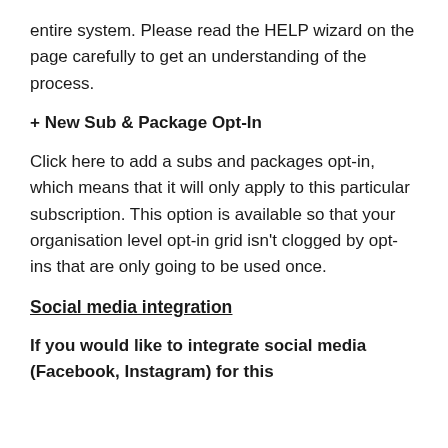entire system. Please read the HELP wizard on the page carefully to get an understanding of the process.
+ New Sub & Package Opt-In
Click here to add a subs and packages opt-in, which means that it will only apply to this particular subscription. This option is available so that your organisation level opt-in grid isn't clogged by opt-ins that are only going to be used once.
Social media integration
If you would like to integrate social media (Facebook, Instagram) for this